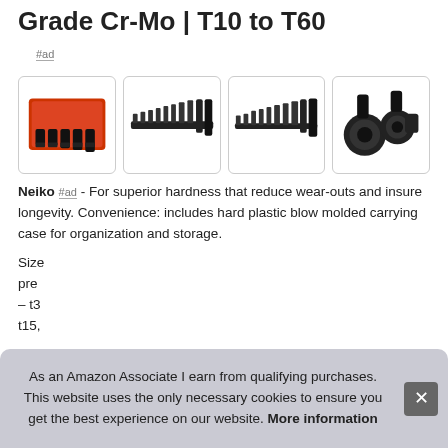Grade Cr-Mo | T10 to T60
#ad
[Figure (photo): Four product images showing a Neiko socket bit set: (1) red carrying case with bits, (2) row of hex bits, (3) row of impact bits, (4) close-up of socket bits]
Neiko #ad - For superior hardness that reduce wear-outs and insure longevity. Convenience: includes hard plastic blow molded carrying case for organization and storage.
Size pre – t3 t15,
As an Amazon Associate I earn from qualifying purchases. This website uses the only necessary cookies to ensure you get the best experience on our website. More information